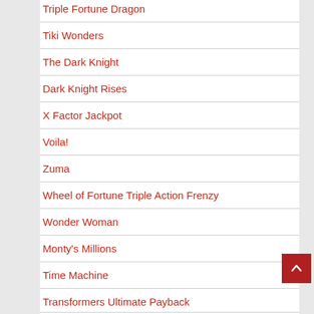Triple Fortune Dragon
Tiki Wonders
The Dark Knight
Dark Knight Rises
X Factor Jackpot
Voila!
Zuma
Wheel of Fortune Triple Action Frenzy
Wonder Woman
Monty's Millions
Time Machine
Transformers Ultimate Payback